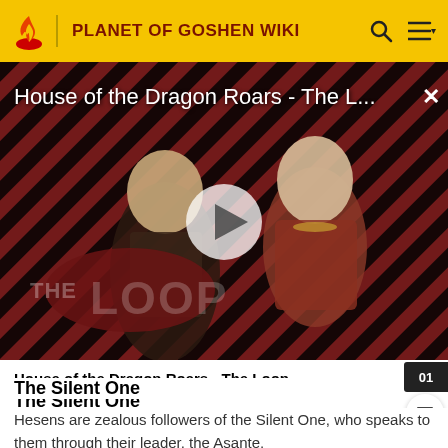PLANET OF GOSHEN WIKI
[Figure (screenshot): Video thumbnail for 'House of the Dragon Roars - The Loop' showing two characters from House of the Dragon against a diagonal red and black striped background with 'THE LOOP' text and a white play button in the center.]
House of the Dragon Roars - The Loop
The Silent One
Hesens are zealous followers of the Silent One, who speaks to them through their leader, the Asante.